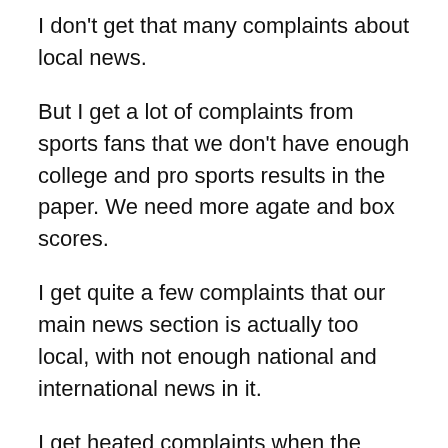I don't get that many complaints about local news.
But I get a lot of complaints from sports fans that we don't have enough college and pro sports results in the paper. We need more agate and box scores.
I get quite a few complaints that our main news section is actually too local, with not enough national and international news in it.
I get heated complaints when the person in charge of placing the Cryptoquote puzzle in the paper screws up and leaves it out or runs the same puzzle two days in a row.
But by far the greatest number of complaints during my first year in Lenoir came as a result of two business decisions: to drop our Saturday edition, and to change our